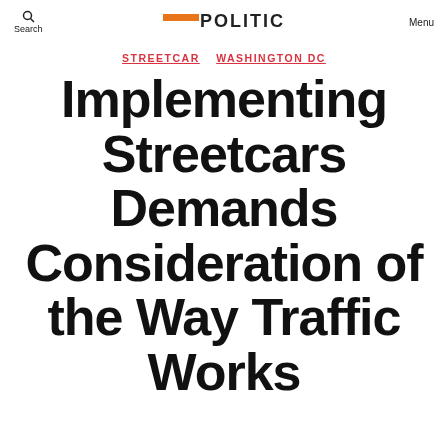Search   POLITIC   Menu
STREETCAR   WASHINGTON DC
Implementing Streetcars Demands Consideration of the Way Traffic Works